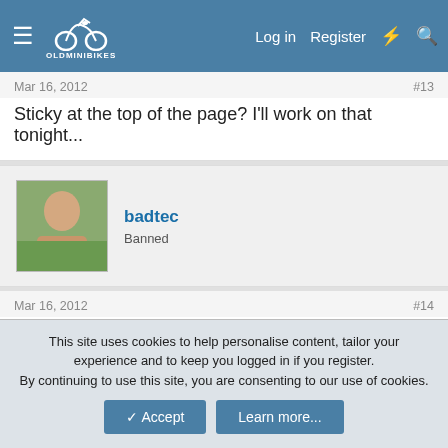OldMiniBikes forum navigation — Log in | Register
Mar 16, 2012  #13
Sticky at the top of the page? I'll work on that tonight...
badtec — Banned
Mar 16, 2012  #14
Good stuff Hemi.
creia — OldMiniBikes Supporting Member .com
This site uses cookies to help personalise content, tailor your experience and to keep you logged in if you register. By continuing to use this site, you are consenting to our use of cookies.